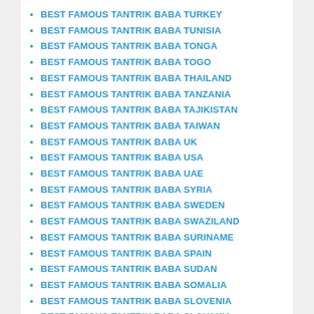BEST FAMOUS TANTRIK BABA TURKEY
BEST FAMOUS TANTRIK BABA TUNISIA
BEST FAMOUS TANTRIK BABA TONGA
BEST FAMOUS TANTRIK BABA TOGO
BEST FAMOUS TANTRIK BABA THAILAND
BEST FAMOUS TANTRIK BABA TANZANIA
BEST FAMOUS TANTRIK BABA TAJIKISTAN
BEST FAMOUS TANTRIK BABA TAIWAN
BEST FAMOUS TANTRIK BABA UK
BEST FAMOUS TANTRIK BABA USA
BEST FAMOUS TANTRIK BABA UAE
BEST FAMOUS TANTRIK BABA SYRIA
BEST FAMOUS TANTRIK BABA SWEDEN
BEST FAMOUS TANTRIK BABA SWAZILAND
BEST FAMOUS TANTRIK BABA SURINAME
BEST FAMOUS TANTRIK BABA SPAIN
BEST FAMOUS TANTRIK BABA SUDAN
BEST FAMOUS TANTRIK BABA SOMALIA
BEST FAMOUS TANTRIK BABA SLOVENIA
BEST FAMOUS TANTRIK BABA SLOVAKIA
BEST FAMOUS TANTRIK BABA SINGAPORE
BEST FAMOUS TANTRIK BABA SIERRA LEONE